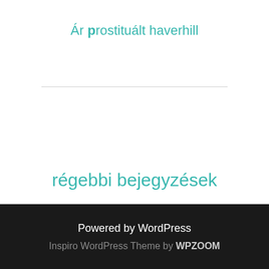Ár prostituált haverhill
régebbi bejegyzések
Powered by WordPress
Inspiro WordPress Theme by WPZOOM